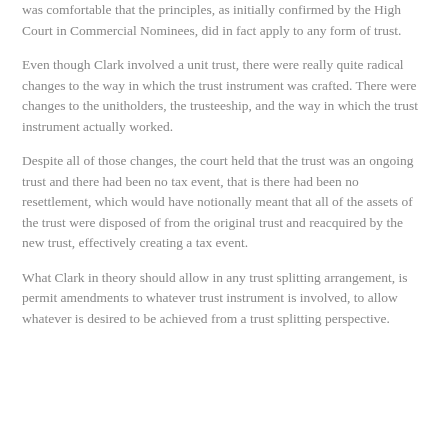was comfortable that the principles, as initially confirmed by the High Court in Commercial Nominees, did in fact apply to any form of trust.
Even though Clark involved a unit trust, there were really quite radical changes to the way in which the trust instrument was crafted. There were changes to the unitholders, the trusteeship, and the way in which the trust instrument actually worked.
Despite all of those changes, the court held that the trust was an ongoing trust and there had been no tax event, that is there had been no resettlement, which would have notionally meant that all of the assets of the trust were disposed of from the original trust and reacquired by the new trust, effectively creating a tax event.
What Clark in theory should allow in any trust splitting arrangement, is permit amendments to whatever trust instrument is involved, to allow whatever is desired to be achieved from a trust splitting perspective.